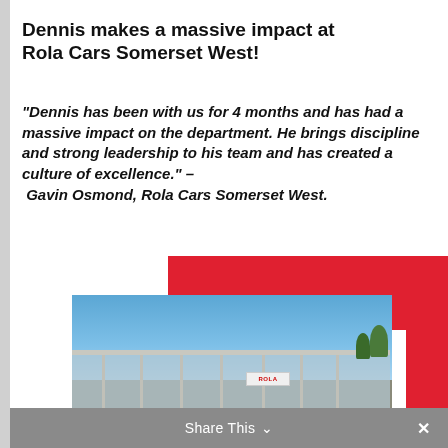Dennis makes a massive impact at Rola Cars Somerset West!
“Dennis has been with us for 4 months and has had a massive impact on the department. He brings discipline and strong leadership to his team and has created a culture of excellence.” – Gavin Osmond, Rola Cars Somerset West.
[Figure (photo): Exterior photo of Rola Cars Somerset West dealership building, a modern glass-fronted showroom with cars visible inside, blue sky background.]
Share This ∨ ×